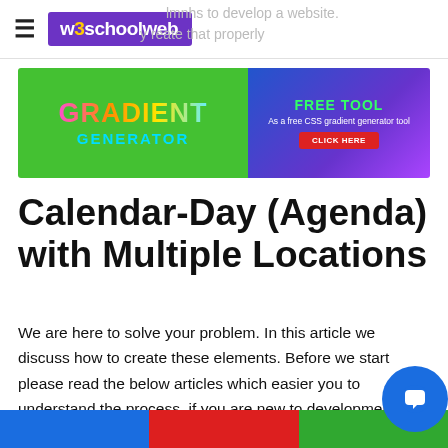w3schoolweb
[Figure (infographic): Advertisement banner for Gradient Generator free tool with green left panel and purple/blue right panel]
Calendar-Day (Agenda) with Multiple Locations
We are here to solve your problem. In this article we discuss how to create these elements. Before we start please read the below articles which easier you to understand the process, if you are new to development.
How to start with HTML?